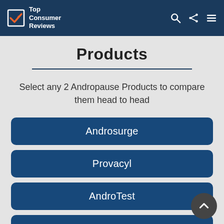Top Consumer Reviews
Products
Select any 2 Andropause Products to compare them head to head
Androsurge
Provacyl
AndroTest
Primal Shield